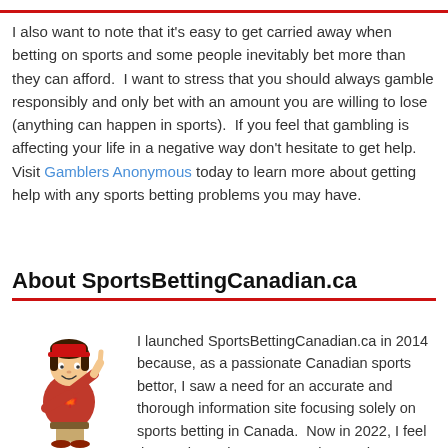I also want to note that it's easy to get carried away when betting on sports and some people inevitably bet more than they can afford.  I want to stress that you should always gamble responsibly and only bet with an amount you are willing to lose (anything can happen in sports).  If you feel that gambling is affecting your life in a negative way don't hesitate to get help.  Visit Gamblers Anonymous today to learn more about getting help with any sports betting problems you may have.
About SportsBettingCanadian.ca
[Figure (illustration): Cartoon mascot of a Canadian sports bettor in a red jersey and khaki pants, pointing upward with one finger]
I launched SportsBettingCanadian.ca in 2014 because, as a passionate Canadian sports bettor, I saw a need for an accurate and thorough information site focusing solely on sports betting in Canada.  Now in 2022, I feel that we have the most complete and